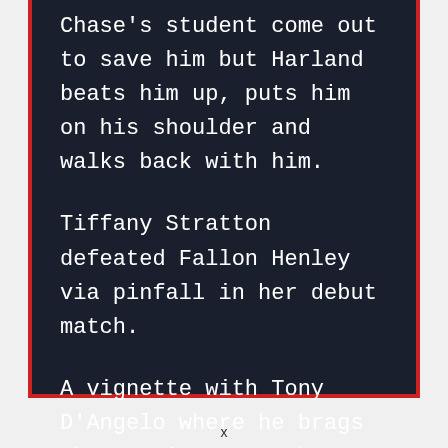Chase's student come out to save him but Harland beats him up, puts him on his shoulder and walks back with him.
Tiffany Stratton defeated Fallon Henley via pinfall in her debut match.
A vignette with Tony D'Angelo where he brags about using a crowbar on Pete Dunne.
x